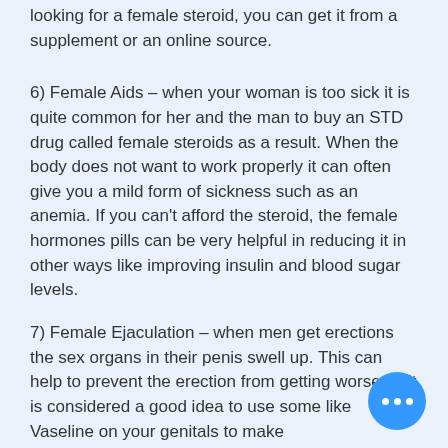looking for a female steroid, you can get it from a supplement or an online source.
6) Female Aids – when your woman is too sick it is quite common for her and the man to buy an STD drug called female steroids as a result. When the body does not want to work properly it can often give you a mild form of sickness such as an anemia. If you can't afford the steroid, the female hormones pills can be very helpful in reducing it in other ways like improving insulin and blood sugar levels.
7) Female Ejaculation – when men get erections the sex organs in their penis swell up. This can help to prevent the erection from getting worse so it is considered a good idea to use some like Vaseline on your genitals to make